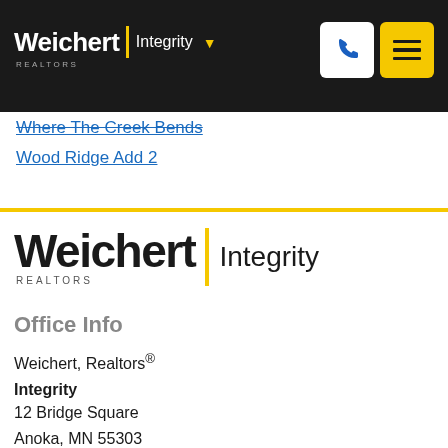Weichert | Integrity
Where The Creek Bends
Wood Ridge Add 2
[Figure (logo): Weichert Realtors Integrity logo — large footer version]
Office Info
Weichert, Realtors® Integrity
12 Bridge Square
Anoka, MN 55303